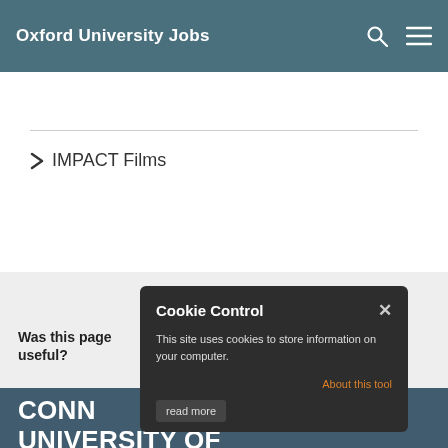Oxford University Jobs
> IMPACT Films
Was this page useful? YES NO
Cookie Control × This site uses cookies to store information on your computer. About this tool read more
CONNECT WITH THE UNIVERSITY OF OXFORD